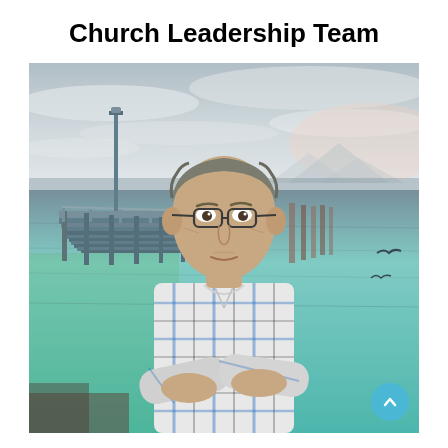Church Leadership Team
[Figure (photo): A middle-aged to older man with glasses and grey-brown hair, wearing a plaid flannel shirt with arms crossed, standing in front of a waterfront scene with a dock/pier extending into calm greenish water, overcast sky, mountains in the background.]